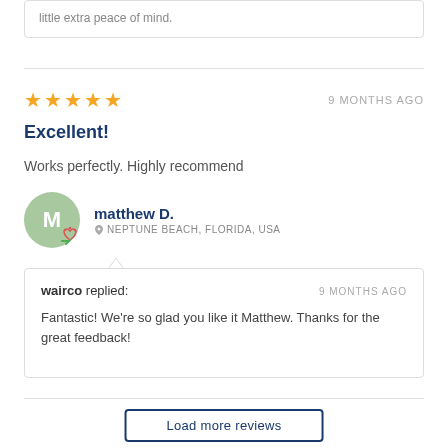little extra peace of mind.
★★★★★   9 MONTHS AGO
Excellent!
Works perfectly. Highly recommend
matthew D.
NEPTUNE BEACH, FLORIDA, USA
wairco replied:   9 MONTHS AGO
Fantastic! We're so glad you like it Matthew. Thanks for the great feedback!